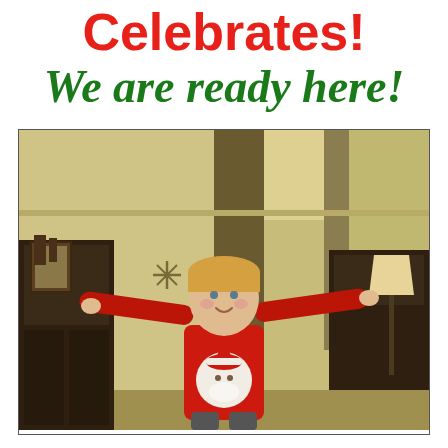Celebrates!
We are ready here!
[Figure (photo): A young blonde boy in a red Santa Claus shirt with arms spread wide, smiling in a home living room decorated for Christmas with a snowflake ornament visible in the background]